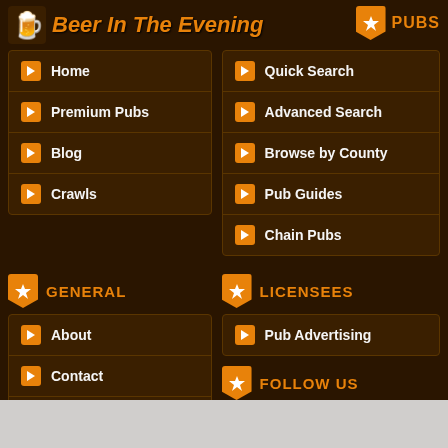Beer In The Evening
PUBS
Home
Premium Pubs
Blog
Crawls
Quick Search
Advanced Search
Browse by County
Pub Guides
Chain Pubs
GENERAL
LICENSEES
About
Contact
FAQ
Login My BITE
Privacy Policy
Pub Advertising
FOLLOW US
Facebook
Twitter
FourSquare
Blog